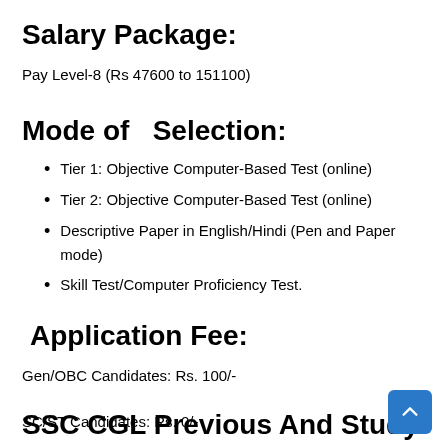Salary Package:
Pay Level-8 (Rs 47600 to 151100)
Mode of  Selection:
Tier 1: Objective Computer-Based Test (online)
Tier 2: Objective Computer-Based Test (online)
Descriptive Paper in English/Hindi (Pen and Paper mode)
Skill Test/Computer Proficiency Test.
Application Fee:
Gen/OBC Candidates: Rs. 100/-
SC/ST Candidates: Rs. 0/-
SSC CGL Previous And Study M...